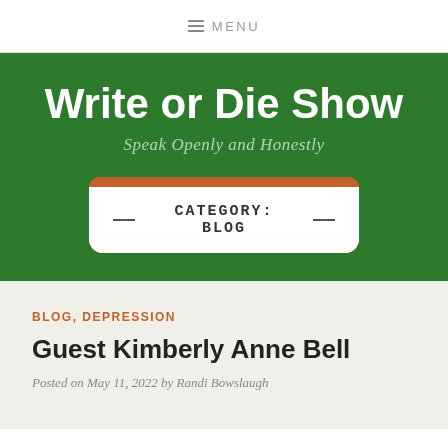≡ MENU
Write or Die Show
Speak Openly and Honestly
CATEGORY: BLOG
BLOG, DEPRESSION
Guest Kimberly Anne Bell
Posted on May 11, 2022 by Randi Bowslaugh